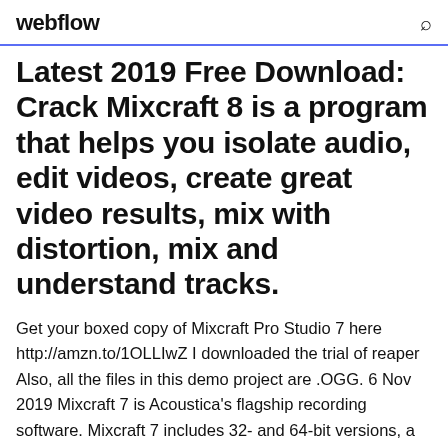webflow
Latest 2019 Free Download: Crack Mixcraft 8 is a program that helps you isolate audio, edit videos, create great video results, mix with distortion, mix and understand tracks.
Get your boxed copy of Mixcraft Pro Studio 7 here http://amzn.to/1OLLIwZ I downloaded the trial of reaper Also, all the files in this demo project are .OGG. 6 Nov 2019 Mixcraft 7 is Acoustica's flagship recording software. Mixcraft 7 includes 32- and 64-bit versions, a stunning new interface, live loop and sample 26 Dec 2019 Download Mixcraft Pro Studio for